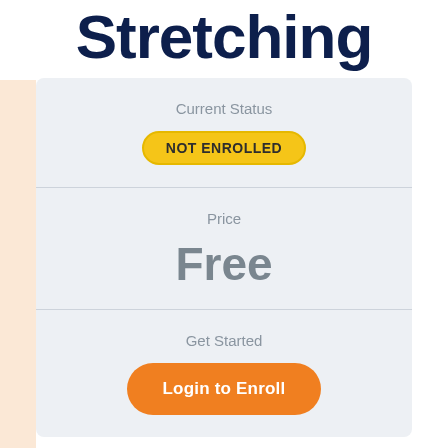Stretching
Current Status
NOT ENROLLED
Price
Free
Get Started
Login to Enroll